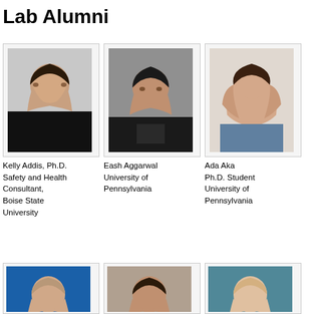Lab Alumni
[Figure (photo): Headshot of Kelly Addis, woman with dark curly hair, wearing black top, white background]
[Figure (photo): Headshot of Eash Aggarwal, young man in dark suit and tie, gray background]
[Figure (photo): Headshot of Ada Aka, young woman with long dark hair, wearing blue patterned top, light background]
Kelly Addis, Ph.D. Safety and Health Consultant, Boise State University
Eash Aggarwal University of Pennsylvania
Ada Aka Ph.D. Student University of Pennsylvania
[Figure (photo): Headshot of woman with brown hair, blue background, professional photo]
[Figure (photo): Headshot of young man, tan background, professional photo]
[Figure (photo): Headshot of blonde woman smiling, teal background, professional photo]